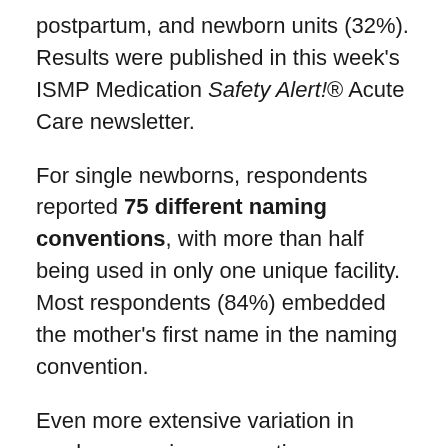postpartum, and newborn units (32%). Results were published in this week's ISMP Medication Safety Alert!® Acute Care newsletter.
For single newborns, respondents reported 75 different naming conventions, with more than half being used in only one unique facility. Most respondents (84%) embedded the mother's first name in the naming convention.
Even more extensive variation in newborn naming conventions was reported for multiple siblings (twins, triplets, etc.).